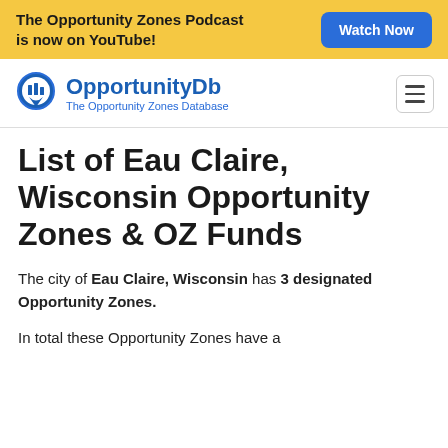The Opportunity Zones Podcast is now on YouTube! Watch Now
[Figure (logo): OpportunityDb - The Opportunity Zones Database logo with map pin icon]
List of Eau Claire, Wisconsin Opportunity Zones & OZ Funds
The city of Eau Claire, Wisconsin has 3 designated Opportunity Zones.
In total these Opportunity Zones have a